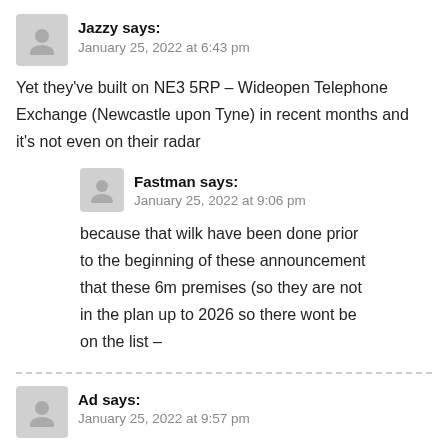Jazzy says:
January 25, 2022 at 6:43 pm
Yet they've built on NE3 5RP – Wideopen Telephone Exchange (Newcastle upon Tyne) in recent months and it's not even on their radar
Fastman says:
January 25, 2022 at 9:06 pm
because that wilk have been done prior to the beginning of these announcement that these 6m premises (so they are not in the plan up to 2026 so there wont be on the list –
Ad says:
January 25, 2022 at 9:57 pm